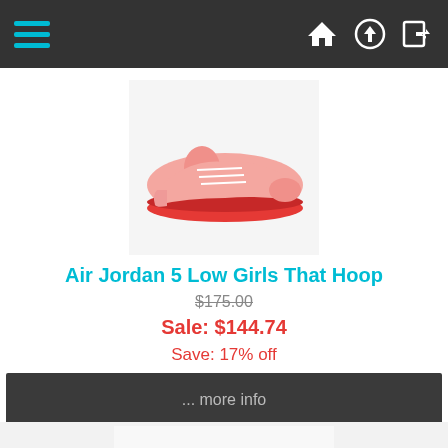Navigation bar with hamburger menu, home, upload, and login icons
[Figure (photo): Air Jordan 5 Low Girls That Hoop sneaker - pink/red colorway on white background]
Air Jordan 5 Low Girls That Hoop
$175.00 (strikethrough original price)
Sale: $144.74
Save: 17% off
... more info
[Figure (photo): Air Jordan 5 white/silver sneaker on light grey background]